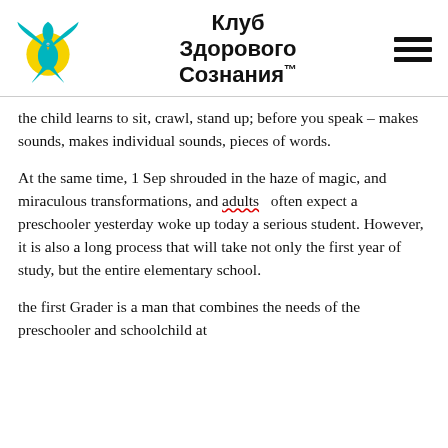Клуб Здорового Сознания™
the child learns to sit, crawl, stand up; before you speak – makes sounds, makes individual sounds, pieces of words.
At the same time, 1 Sep shrouded in the haze of magic, and miraculous transformations, and adults often expect a preschooler yesterday woke up today a serious student. However, it is also a long process that will take not only the first year of study, but the entire elementary school.
the first Grader is a man that combines the needs of the preschooler and schoolchild at